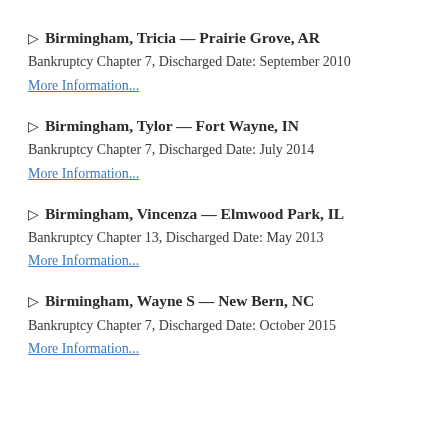▷ Birmingham, Tricia — Prairie Grove, AR
Bankruptcy Chapter 7, Discharged Date: September 2010
More Information...
▷ Birmingham, Tylor — Fort Wayne, IN
Bankruptcy Chapter 7, Discharged Date: July 2014
More Information...
▷ Birmingham, Vincenza — Elmwood Park, IL
Bankruptcy Chapter 13, Discharged Date: May 2013
More Information...
▷ Birmingham, Wayne S — New Bern, NC
Bankruptcy Chapter 7, Discharged Date: October 2015
More Information...